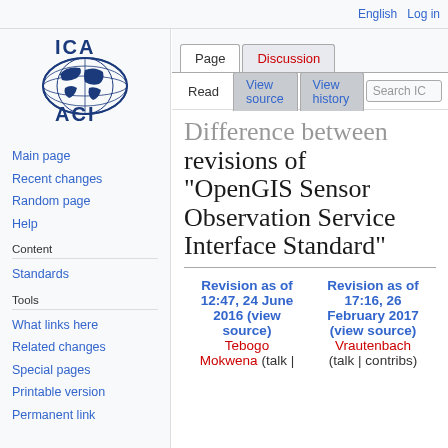English   Log in
[Figure (logo): ICA ACI logo with globe illustration in dark blue]
Main page
Recent changes
Random page
Help
Content
Standards
Tools
What links here
Related changes
Special pages
Printable version
Permanent link
Difference between revisions of "OpenGIS Sensor Observation Service Interface Standard"
| Revision as of 12:47, 24 June 2016 (view source) | Revision as of 17:16, 26 February 2017 (view source) |
| --- | --- |
| Tebogo Mokwena (talk | | (talk | contribs) |